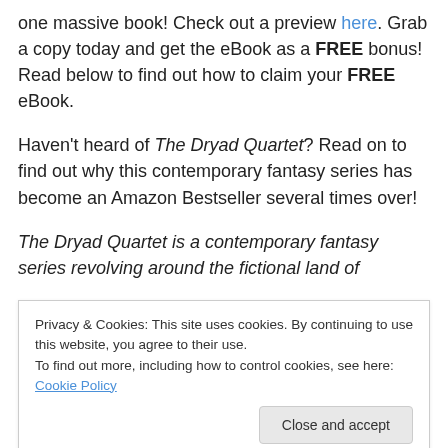one massive book! Check out a preview here. Grab a copy today and get the eBook as a FREE bonus! Read below to find out how to claim your FREE eBook.
Haven't heard of The Dryad Quartet? Read on to find out why this contemporary fantasy series has become an Amazon Bestseller several times over!
The Dryad Quartet is a contemporary fantasy series revolving around the fictional land of Euphora, where beings inspired by Greek mythology exist to preserve the balance of nature and human life, and to protect the living
Privacy & Cookies: This site uses cookies. By continuing to use this website, you agree to their use.
To find out more, including how to control cookies, see here: Cookie Policy
those who control the elements, the Dryads, as well as the